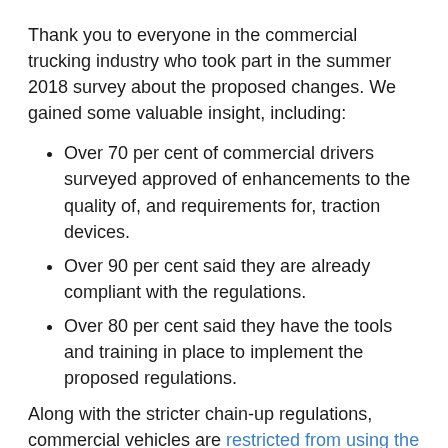Thank you to everyone in the commercial trucking industry who took part in the summer 2018 survey about the proposed changes. We gained some valuable insight, including:
Over 70 per cent of commercial drivers surveyed approved of enhancements to the quality of, and requirements for, traction devices.
Over 90 per cent said they are already compliant with the regulations.
Over 80 per cent said they have the tools and training in place to implement the proposed regulations.
Along with the stricter chain-up regulations, commercial vehicles are restricted from using the left lane northbound on the Coquihalla between Box Canyon and Zopkios, as well as Larson Hill and Inks